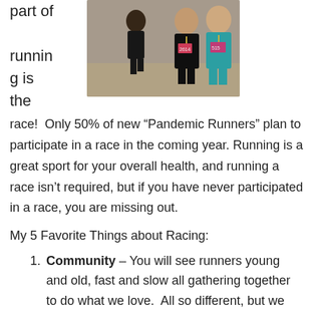part of running is the
[Figure (photo): Two women runners wearing race medals and bibs at a running event, smiling at the camera outdoors.]
race!  Only 50% of new “Pandemic Runners” plan to participate in a race in the coming year. Running is a great sport for your overall health, and running a race isn’t required, but if you have never participated in a race, you are missing out.
My 5 Favorite Things about Racing:
Community – You will see runners young and old, fast and slow all gathering together to do what we love.  All so different, but we have running in common – it’s a beautiful sight!